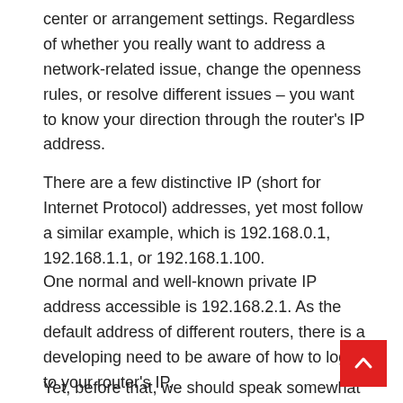center or arrangement settings. Regardless of whether you really want to address a network-related issue, change the openness rules, or resolve different issues – you want to know your direction through the router's IP address.
There are a few distinctive IP (short for Internet Protocol) addresses, yet most follow a similar example, which is 192.168.0.1, 192.168.1.1, or 192.168.1.100.
One normal and well-known private IP address accessible is 192.168.2.1. As the default address of different routers, there is a developing need to be aware of how to log in to your router's IP.
Yet, before that, we should speak somewhat about IP